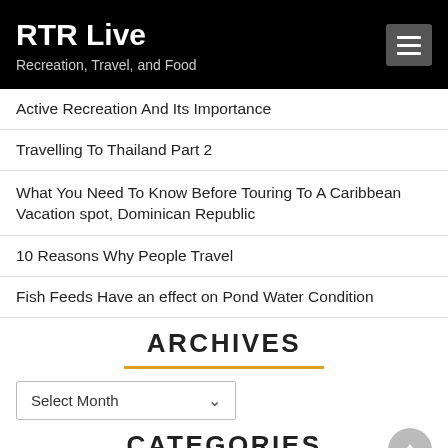RTR Live
Recreation, Travel, and Food
Active Recreation And Its Importance
Travelling To Thailand Part 2
What You Need To Know Before Touring To A Caribbean Vacation spot, Dominican Republic
10 Reasons Why People Travel
Fish Feeds Have an effect on Pond Water Condition
ARCHIVES
Select Month
CATEGORIES